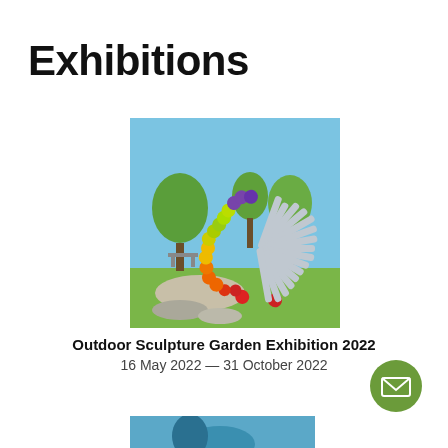Exhibitions
[Figure (photo): Outdoor sculpture in a park: a fan-shaped arrangement of metallic tubes/rods with colorful rounded tips (orange, yellow, green, red, purple) set on rocks against a blue sky and trees backdrop.]
Outdoor Sculpture Garden Exhibition 2022
16 May 2022 — 31 October 2022
[Figure (photo): Partial view of another exhibition image at bottom of page (blue tones, partially cropped).]